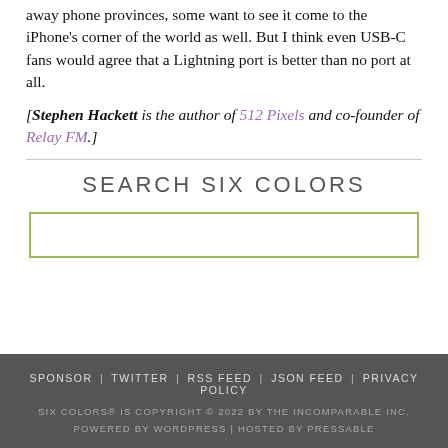away phone provinces, some want to see it come to the iPhone's corner of the world as well. But I think even USB-C fans would agree that a Lightning port is better than no port at all.
[Stephen Hackett is the author of 512 Pixels and co-founder of Relay FM.]
SEARCH SIX COLORS
SPONSOR | TWITTER | RSS FEED | JSON FEED | PRIVACY POLICY
SIX COLORS® IS COPYRIGHT © 2022 BY THE INCOMPARABLE INC.
POWERED BY WORDPRESS | HOSTED BY PRESSABLE